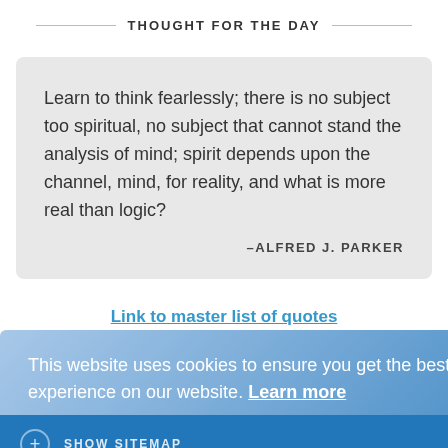THOUGHT FOR THE DAY
Learn to think fearlessly; there is no subject too spiritual, no subject that cannot stand the analysis of mind; spirit depends upon the channel, mind, for reality, and what is more real than logic?
–ALFRED J. PARKER
Link to master list of quotes
This website uses cookies to ensure you get the best experience on our website. Learn more
Got it!
SHOW SITEMAP